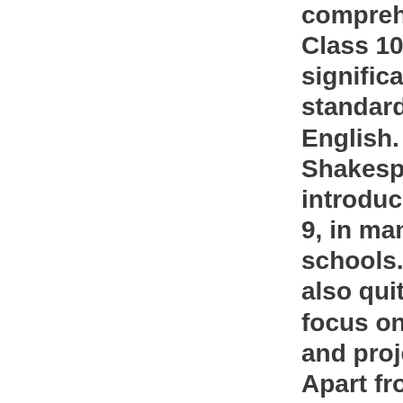comprehensive till Class 10, with significantly higher standards in English. Shakespeare is introduced in Class 9, in many ICSE schools. There is also quite a bit of focus on practical and project work. Apart from that, there is also a sixth subject for which students may